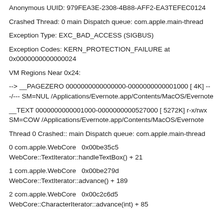Anonymous UUID: 979FEA3E-2308-4B88-AFF2-EA3TEFEC0124
Crashed Thread: 0 main Dispatch queue: com.apple.main-thread
Exception Type: EXC_BAD_ACCESS (SIGBUS)
Exception Codes: KERN_PROTECTION_FAILURE at 0x0000000000000024
VM Regions Near 0x24:
--> __PAGEZERO 0000000000000000-0000000000001000 [ 4K] ---/--- SM=NUL /Applications/Evernote.app/Contents/MacOS/Evernote
__TEXT 0000000000001000-0000000000527000 [ 5272K] r-x/rwx SM=COW /Applications/Evernote.app/Contents/MacOS/Evernote
Thread 0 Crashed:: main Dispatch queue: com.apple.main-thread
0 com.apple.WebCore 0x00be35c5 WebCore::TextIterator::handleTextBox() + 21
1 com.apple.WebCore 0x00be279d WebCore::TextIterator::advance() + 189
2 com.apple.WebCore 0x00c2c6d5 WebCore::CharacterIterator::advance(int) + 85